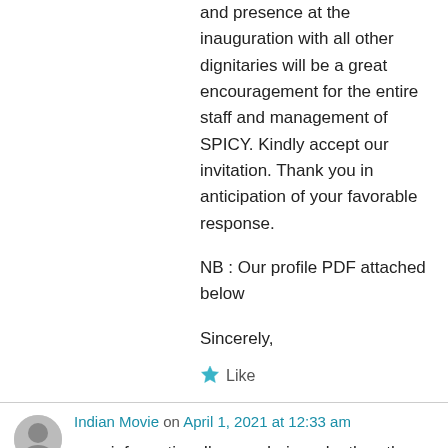and presence at the inauguration with all other dignitaries will be a great encouragement for the entire staff and management of SPICY. Kindly accept our invitation. Thank you in anticipation of your favorable response.

NB : Our profile PDF attached below

Sincerely,
★ Like
Indian Movie on April 1, 2021 at 12:33 am
very informative. I'm wondering why the other experts of this sector do not realize this. You must continue your writing. I'm confident